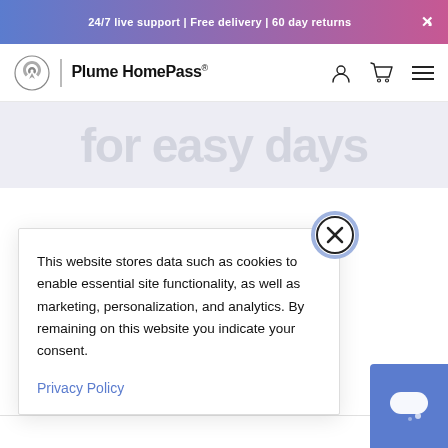24/7 live support | Free delivery | 60 day returns
[Figure (screenshot): Plume HomePass navigation bar with logo, brand name, user icon, cart icon, and menu icon]
[Figure (screenshot): Partial hero text reading 'for easy days' in large light gray text on light background]
This website stores data such as cookies to enable essential site functionality, as well as marketing, personalization, and analytics. By remaining on this website you indicate your consent.
Privacy Policy